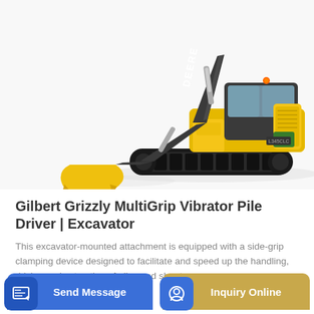[Figure (photo): John Deere excavator with yellow bucket attachment on white background]
Gilbert Grizzly MultiGrip Vibrator Pile Driver | Excavator
This excavator-mounted attachment is equipped with a side-grip clamping device designed to facilitate and speed up the handling, driving and extraction of piles and sheet...